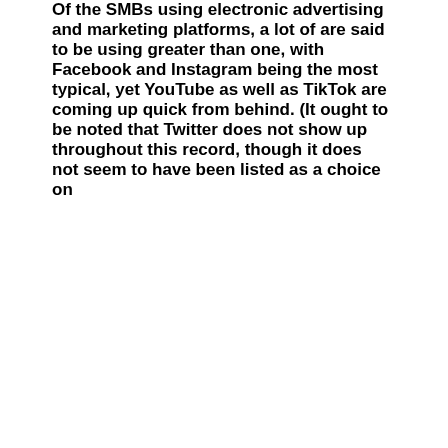Of the SMBs using electronic advertising and marketing platforms, a lot of are said to be using greater than one, with Facebook and Instagram being the most typical, yet YouTube as well as TikTok are coming up quick from behind. (It ought to be noted that Twitter does not show up throughout this record, though it does not seem to have been listed as a choice on